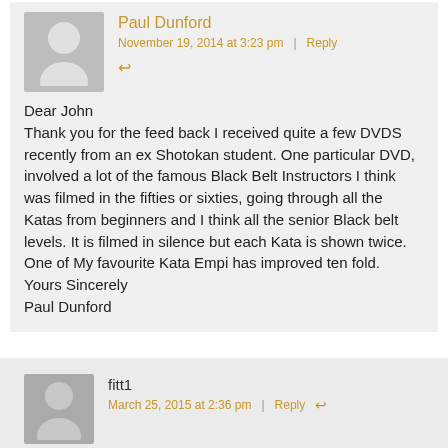[Figure (illustration): User avatar placeholder image - grey silhouette of a person on grey background]
Paul Dunford
November 19, 2014 at 3:23 pm | Reply
Dear John
Thank you for the feed back I received quite a few DVDS recently from an ex Shotokan student. One particular DVD, involved a lot of the famous Black Belt Instructors I think was filmed in the fifties or sixties, going through all the Katas from beginners and I think all the senior Black belt levels. It is filmed in silence but each Kata is shown twice. One of My favourite Kata Empi has improved ten fold.
Yours Sincerely
Paul Dunford
[Figure (illustration): User avatar placeholder image - grey silhouette of a person on darker grey background]
fitt1
March 25, 2015 at 2:36 pm | Reply
Very good info to learn and get better and better at life, didn't get to do...